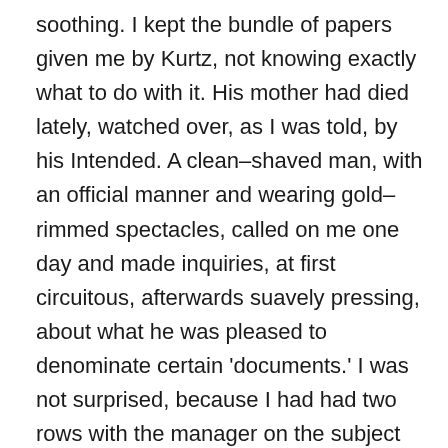soothing. I kept the bundle of papers given me by Kurtz, not knowing exactly what to do with it. His mother had died lately, watched over, as I was told, by his Intended. A clean–shaved man, with an official manner and wearing gold–rimmed spectacles, called on me one day and made inquiries, at first circuitous, afterwards suavely pressing, about what he was pleased to denominate certain 'documents.' I was not surprised, because I had had two rows with the manager on the subject out there. I had refused to give up the smallest scrap out of that package, and I took the same attitude with the spectacled man. He became darkly menacing at last, and with much heat argued that the Company had the right to every bit of information about its 'territories.' And said he, 'Mr. Kurtz's knowledge of unexplored regions must have been necessarily extensive and peculiar—owing to his great abilities and to the deplorable circumstances in which he